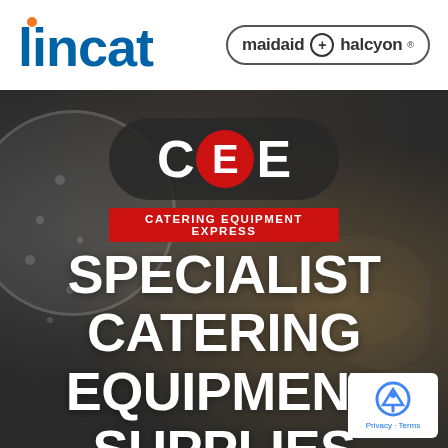[Figure (logo): Lincat logo - blue text with orange dot above the i]
[Figure (logo): Maidaid Halcyon logo in rounded rectangle border with cross symbol]
[Figure (logo): CEE - Catering Equipment Express logo on dark rounded badge with red circle around middle E, red banner below reading CATERING EQUIPMENT EXPRESS]
SPECIALIST CATERING EQUIPMENT SUPPLIES
[Figure (other): reCAPTCHA badge with Privacy and Terms links]